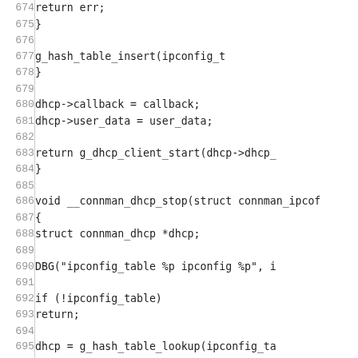Source code listing lines 674-704, C code for connman DHCP functions